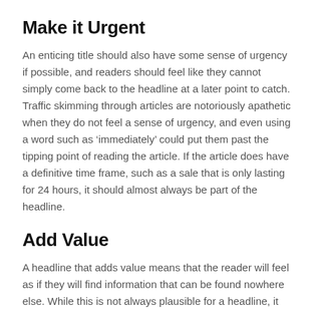Make it Urgent
An enticing title should also have some sense of urgency if possible, and readers should feel like they cannot simply come back to the headline at a later point to catch. Traffic skimming through articles are notoriously apathetic when they do not feel a sense of urgency, and even using a word such as ‘immediately’ could put them past the tipping point of reading the article. If the article does have a definitive time frame, such as a sale that is only lasting for 24 hours, it should almost always be part of the headline.
Add Value
A headline that adds value means that the reader will feel as if they will find information that can be found nowhere else. While this is not always plausible for a headline, it can